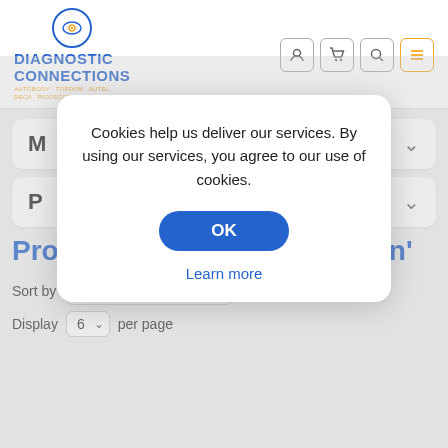[Figure (logo): Diagnostic Connections logo with circular eye icon and orange/blue text. Tagline: AUTOBODY · TOPDON · AUTEL / DECA · PICOSCOPE · OTC]
[Figure (infographic): Header navigation icons: user account, shopping cart, search, and hamburger menu (highlighted in orange border)]
M
P
Products tagged with 'topdon'
Sort by Position
Display 6 per page
Cookies help us deliver our services. By using our services, you agree to our use of cookies.
OK
Learn more